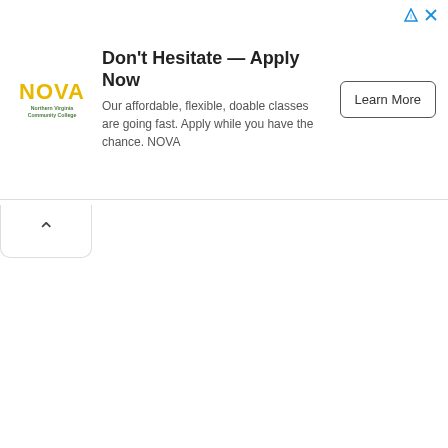[Figure (other): NOVA (Northern Virginia Community College) advertisement banner. Contains NOVA logo on left, headline 'Don't Hesitate — Apply Now', body text about affordable flexible classes, and a 'Learn More' button on the right.]
Don't Hesitate — Apply Now
Our affordable, flexible, doable classes are going fast. Apply while you have the chance. NOVA